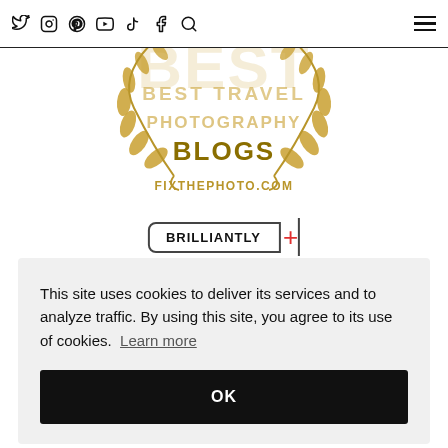Twitter Instagram Pinterest YouTube TikTok Facebook Search [hamburger menu]
[Figure (logo): Gold laurel wreath award badge with text: BEST TRAVEL PHOTOGRAPHY BLOGS, FIXTHEPHOTO.COM]
BRILLIANTLY +
This site uses cookies to deliver its services and to analyze traffic. By using this site, you agree to its use of cookies. Learn more
OK